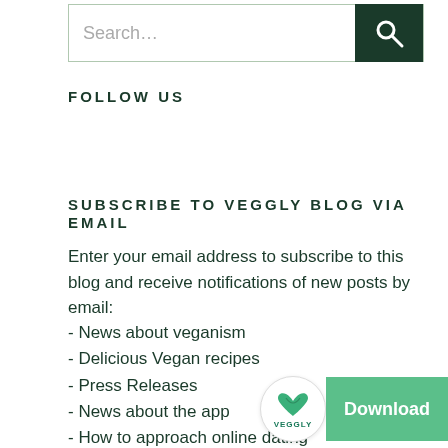Search...
FOLLOW US
SUBSCRIBE TO VEGGLY BLOG VIA EMAIL
Enter your email address to subscribe to this blog and receive notifications of new posts by email:
- News about veganism
- Delicious Vegan recipes
- Press Releases
- News about the app
- How to approach online dating
- Tips on how to use Veggly
[Figure (logo): Veggly logo badge with Download button]